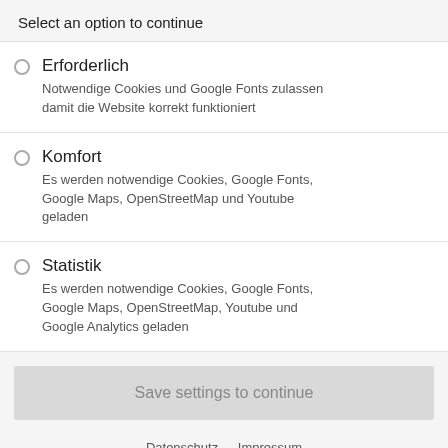Select an option to continue
Erforderlich — Notwendige Cookies und Google Fonts zulassen damit die Website korrekt funktioniert
Komfort — Es werden notwendige Cookies, Google Fonts, Google Maps, OpenStreetMap und Youtube geladen
Statistik — Es werden notwendige Cookies, Google Fonts, Google Maps, OpenStreetMap, Youtube und Google Analytics geladen
Save settings to continue
Datenschutz  Impressum